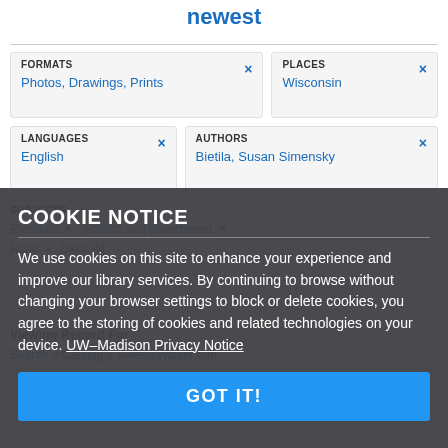newest
FORMATS
Photos, Drawings, Prints
PLACES
Wisconsin
LANGUAGES
English
AUTHORS
Bietila, Susan Simensky
SUBJECTS
Elections
Politics and government
Clear All
Viewing Record For
Search > Catalog > Sweep Walker out!
COOKIE NOTICE
We use cookies on this site to enhance your experience and improve our library services. By continuing to browse without changing your browser settings to block or delete cookies, you agree to the storing of cookies and related technologies on your device. UW–Madison Privacy Notice
GOT IT!